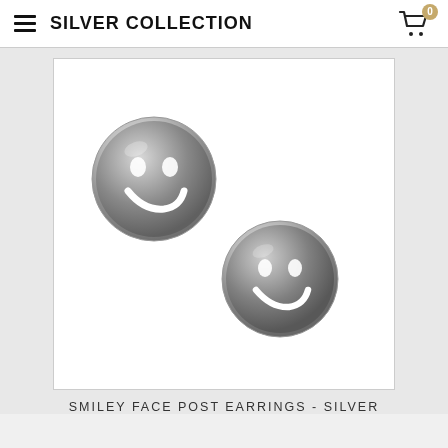SILVER COLLECTION
[Figure (photo): Two silver smiley face post earrings photographed on a white background. One earring is positioned upper-left, the other lower-right. Both are metallic silver disc shapes with open-cut smiley face design showing eyes and a smile.]
SMILEY FACE POST EARRINGS - SILVER